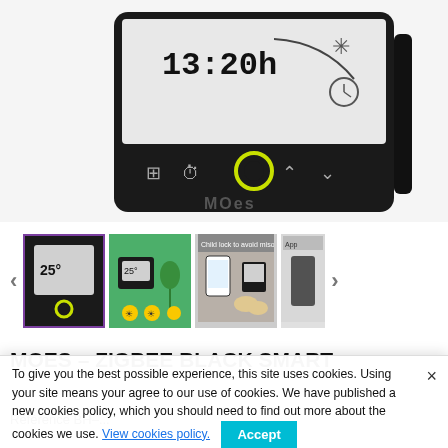[Figure (photo): Close-up of a MOES black smart thermostat showing a digital display with 13:20h time, sun icon, clock icon, and touch control buttons with a yellow ring button. Brand name MOES is visible on the device.]
[Figure (photo): Thumbnail strip showing four product images of the MOES Zigbee black smart thermostat from different angles and use cases. First thumbnail (selected, with purple border) shows the device front view. Second shows lifestyle image with device on green background. Third shows child lock feature. Fourth is partially visible.]
MOES – ZIGBEE BLACK SMART THERMOSTAT
Référence BH-...
To give you the best possible experience, this site uses cookies. Using your site means your agree to our use of cookies. We have published a new cookies policy, which you should need to find out more about the cookies we use. View cookies policy. Accept